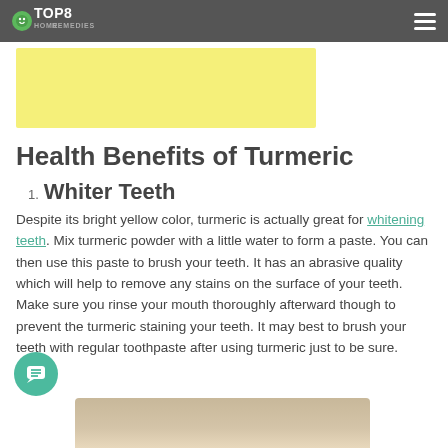Top8 Home Remedies
[Figure (other): Yellow advertisement banner]
Health Benefits of Turmeric
1. Whiter Teeth
Despite its bright yellow color, turmeric is actually great for whitening teeth. Mix turmeric powder with a little water to form a paste. You can then use this paste to brush your teeth. It has an abrasive quality which will help to remove any stains on the surface of your teeth. Make sure you rinse your mouth thoroughly afterward though to prevent the turmeric staining your teeth. It may best to brush your teeth with regular toothpaste after using turmeric just to be sure.
[Figure (photo): Photo of person at bottom of page]